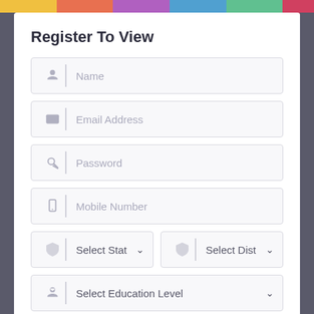Register To View
Name
Email Address
Password
Mobile Number
Select State
Select District
Select Education Level
Select Preferred...